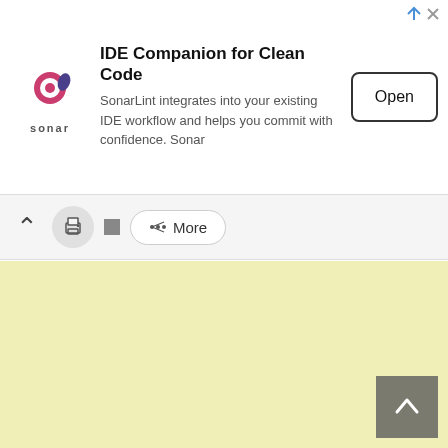[Figure (screenshot): Advertisement banner for SonarLint IDE plugin titled 'IDE Companion for Clean Code' with Sonar logo, description text, and Open button]
[Figure (screenshot): Browser toolbar with up arrow, print icon, square icon, and More share button]
[Figure (screenshot): Light yellow content area with a dark gray back-to-top arrow button in the bottom right corner]